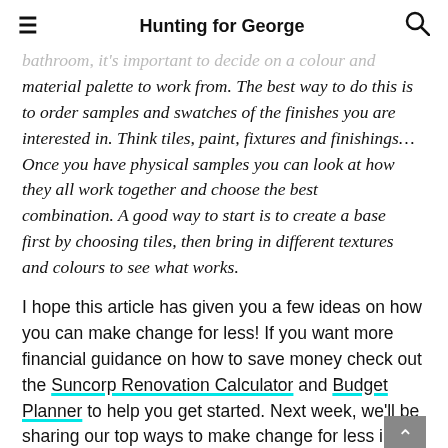Hunting for George
bathroom, it's important to decide on a colour and material palette to work from. The best way to do this is to order samples and swatches of the finishes you are interested in. Think tiles, paint, fixtures and finishings… Once you have physical samples you can look at how they all work together and choose the best combination. A good way to start is to create a base first by choosing tiles, then bring in different textures and colours to see what works.
I hope this article has given you a few ideas on how you can make change for less! If you want more financial guidance on how to save money check out the Suncorp Renovation Calculator and Budget Planner to help you get started. Next week, we'll be sharing our top ways to make change for less in your dining room!